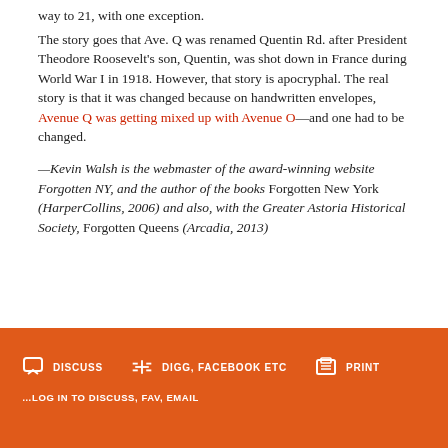way to 21, with one exception.
The story goes that Ave. Q was renamed Quentin Rd. after President Theodore Roosevelt's son, Quentin, was shot down in France during World War I in 1918. However, that story is apocryphal. The real story is that it was changed because on handwritten envelopes, Avenue Q was getting mixed up with Avenue O—and one had to be changed.
—Kevin Walsh is the webmaster of the award-winning website Forgotten NY, and the author of the books Forgotten New York (HarperCollins, 2006) and also, with the Greater Astoria Historical Society, Forgotten Queens (Arcadia, 2013)
DISCUSS   DIGG, FACEBOOK ETC   PRINT   ...LOG IN TO DISCUSS, FAV, EMAIL